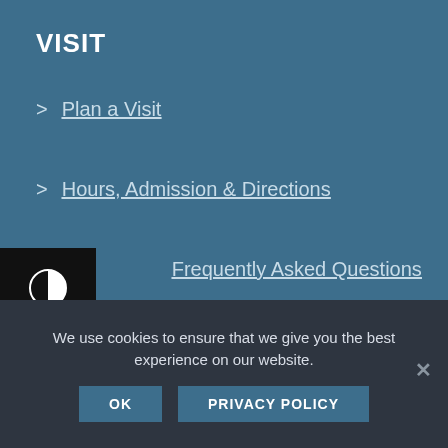VISIT
> Plan a Visit
> Hours, Admission & Directions
> Frequently Asked Questions
CONTACT US
We use cookies to ensure that we give you the best experience on our website.
OK   PRIVACY POLICY